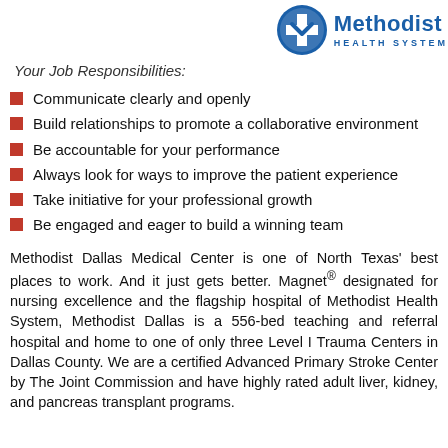[Figure (logo): Methodist Health System logo — blue circle with white cross/arrow icon, text 'Methodist' in bold blue and 'HEALTH SYSTEM' in spaced blue caps]
Your Job Responsibilities:
Communicate clearly and openly
Build relationships to promote a collaborative environment
Be accountable for your performance
Always look for ways to improve the patient experience
Take initiative for your professional growth
Be engaged and eager to build a winning team
Methodist Dallas Medical Center is one of North Texas' best places to work. And it just gets better. Magnet® designated for nursing excellence and the flagship hospital of Methodist Health System, Methodist Dallas is a 556-bed teaching and referral hospital and home to one of only three Level I Trauma Centers in Dallas County. We are a certified Advanced Primary Stroke Center by The Joint Commission and have highly rated adult liver, kidney, and pancreas transplant programs.